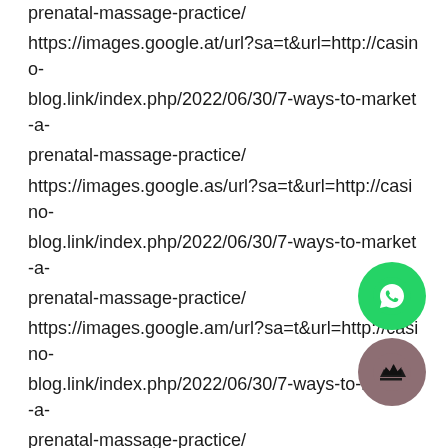prenatal-massage-practice/ https://images.google.at/url?sa=t&url=http://casino-blog.link/index.php/2022/06/30/7-ways-to-market-a-prenatal-massage-practice/ https://images.google.as/url?sa=t&url=http://casino-blog.link/index.php/2022/06/30/7-ways-to-market-a-prenatal-massage-practice/ https://images.google.am/url?sa=t&url=http://casino-blog.link/index.php/2022/06/30/7-ways-to-market-a-prenatal-massage-practice/ https://images.google.al/url?sa=t&url=http://casino-blog.link/index.php/2022/06/30/7-ways-to-market-a-prenatal-massage-practice/ https://images.google.ae/url?sa=t&url=http://casino-blog.link/index.php/2022/06/30/7-ways-to-market-a-prenatal-massage-practice/ https://images.google.ae/url?q=http://casino-blog.link/index.php/2022/06/30/7-ways-to-market-a-
[Figure (illustration): WhatsApp floating button (green circle with phone/chat icon)]
[Figure (illustration): Crown floating button (mauve/rose circle with crown icon)]